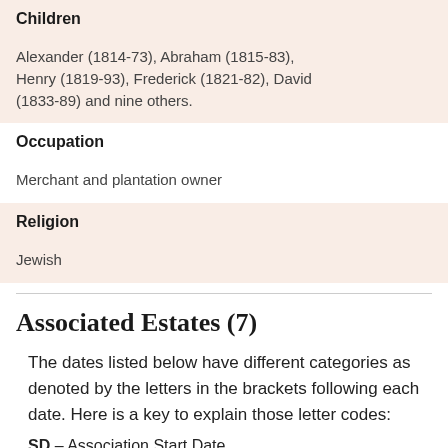Children
Alexander (1814-73), Abraham (1815-83), Henry (1819-93), Frederick (1821-82), David (1833-89) and nine others.
Occupation
Merchant and plantation owner
Religion
Jewish
Associated Estates (7)
The dates listed below have different categories as denoted by the letters in the brackets following each date. Here is a key to explain those letter codes:
SD – Association Start Date